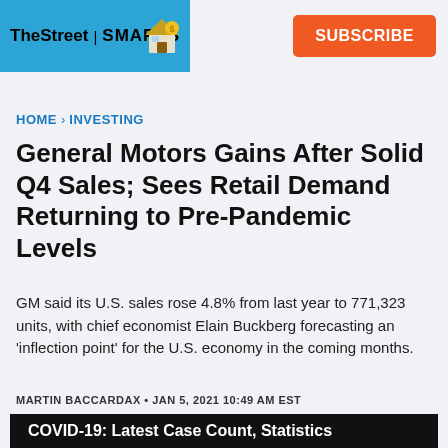TheStreet | SMARTS  SUBSCRIBE
HOME > INVESTING
General Motors Gains After Solid Q4 Sales; Sees Retail Demand Returning to Pre-Pandemic Levels
GM said its U.S. sales rose 4.8% from last year to 771,323 units, with chief economist Elain Buckberg forecasting an 'inflection point' for the U.S. economy in the coming months.
MARTIN BACCARDAX • JAN 5, 2021 10:49 AM EST
[Figure (photo): Dark banner image with white text reading 'COVID-19: Latest Case Count, Statistics']